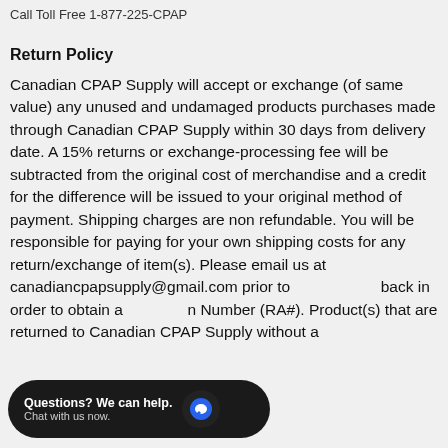Call Toll Free 1-877-225-CPAP
Return Policy
Canadian CPAP Supply will accept or exchange (of same value) any unused and undamaged products purchases made through Canadian CPAP Supply within 30 days from delivery date. A 15% returns or exchange-processing fee will be subtracted from the original cost of merchandise and a credit for the difference will be issued to your original method of payment. Shipping charges are non refundable. You will be responsible for paying for your own shipping costs for any return/exchange of item(s). Please email us at canadiancpapsupply@gmail.com prior to back in order to obtain a Number (RA#). Product(s) that are returned to Canadian CPAP Supply without a